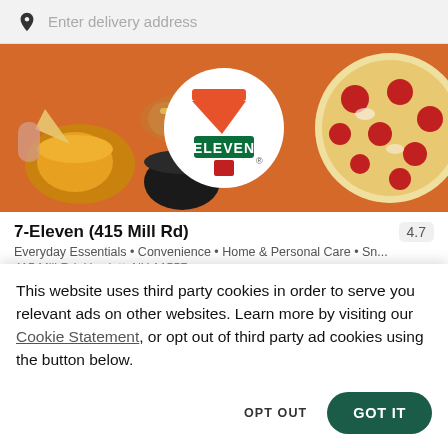Enter delivery address
[Figure (photo): 7-Eleven restaurant banner image with food items — chips with cheese dip, hot dog, cola, pepperoni pizza — and the 7-Eleven logo in the center]
7-Eleven (415 Mill Rd)
4.7
Everyday Essentials • Convenience • Home & Personal Care • Sn...
415 Mill Rd, Hewlett, NY 11557
This website uses third party cookies in order to serve you relevant ads on other websites. Learn more by visiting our Cookie Statement, or opt out of third party ad cookies using the button below.
OPT OUT
GOT IT